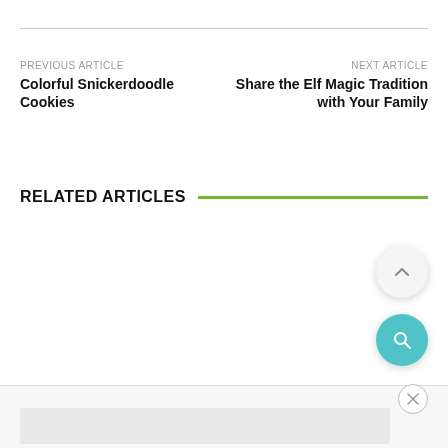PREVIOUS ARTICLE
Colorful Snickerdoodle Cookies
NEXT ARTICLE
Share the Elf Magic Tradition with Your Family
RELATED ARTICLES